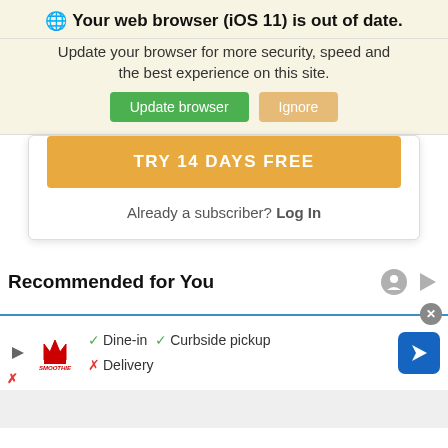🌐 Your web browser (iOS 11) is out of date.
Update your browser for more security, speed and the best experience on this site.
Update browser | Ignore
TRY 14 DAYS FREE
Already a subscriber? Log In
Recommended for You
[Figure (screenshot): Advertisement for Smoothie King showing dine-in, curbside pickup checkmarks and delivery X mark, with a blue navigation arrow icon on the right.]